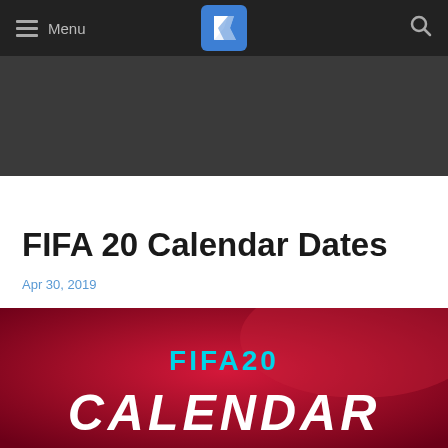Menu
[Figure (other): Dark gray banner / advertisement placeholder below navigation bar]
FIFA 20 Calendar Dates
Apr 30, 2019
[Figure (illustration): FIFA 20 Calendar promotional image with red gradient background, cyan FIFA20 text and white italic CALENDAR text]